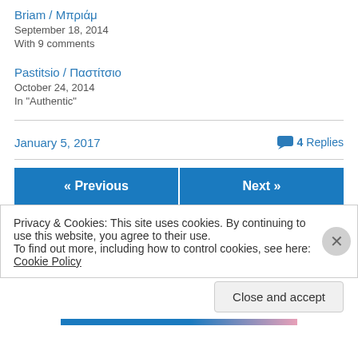Briam / Μπριάμ
September 18, 2014
With 9 comments
Pastitsio / Παστίτσιο
October 24, 2014
In "Authentic"
January 5, 2017     4 Replies
« Previous
Next »
Privacy & Cookies: This site uses cookies. By continuing to use this website, you agree to their use.
To find out more, including how to control cookies, see here: Cookie Policy
Close and accept